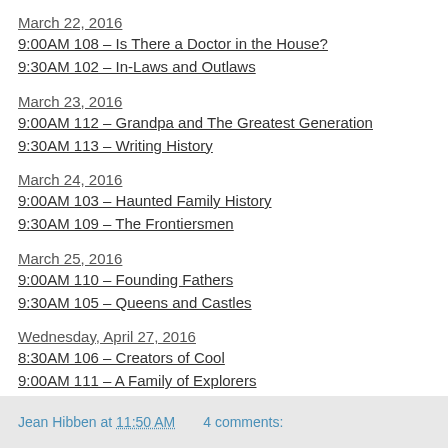March 22, 2016
9:00AM 108 – Is There a Doctor in the House?
9:30AM 102 – In-Laws and Outlaws
March 23, 2016
9:00AM 112 – Grandpa and The Greatest Generation
9:30AM 113 – Writing History
March 24, 2016
9:00AM 103 – Haunted Family History
9:30AM 109 – The Frontiersmen
March 25, 2016
9:00AM 110 – Founding Fathers
9:30AM 105 – Queens and Castles
Wednesday, April 27, 2016
8:30AM 106 – Creators of Cool
9:00AM 111 – A Family of Explorers
9:30AM 101 – Road to Freedom
Jean Hibben at 11:50 AM    4 comments: